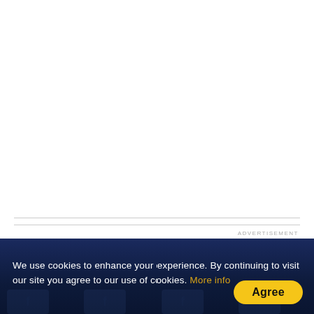ADVERTISEMENT
Promoted Content
We use cookies to enhance your experience. By continuing to visit our site you agree to our use of cookies. More info
Agree